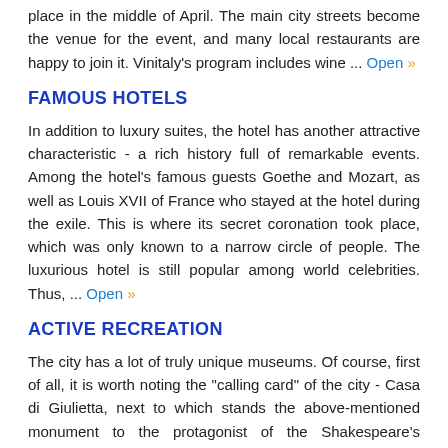place in the middle of April. The main city streets become the venue for the event, and many local restaurants are happy to join it. Vinitaly's program includes wine ... Open
FAMOUS HOTELS
In addition to luxury suites, the hotel has another attractive characteristic - a rich history full of remarkable events. Among the hotel's famous guests Goethe and Mozart, as well as Louis XVII of France who stayed at the hotel during the exile. This is where its secret coronation took place, which was only known to a narrow circle of people. The luxurious hotel is still popular among world celebrities. Thus, ... Open
ACTIVE RECREATION
The city has a lot of truly unique museums. Of course, first of all, it is worth noting the "calling card" of the city - Casa di Giulietta, next to which stands the above-mentioned monument to the protagonist of the Shakespeare's tragedy. Archeology buffs go to Museo Archeologico and Museo Archeologico al Teatro Romano, and those who wish to "touch